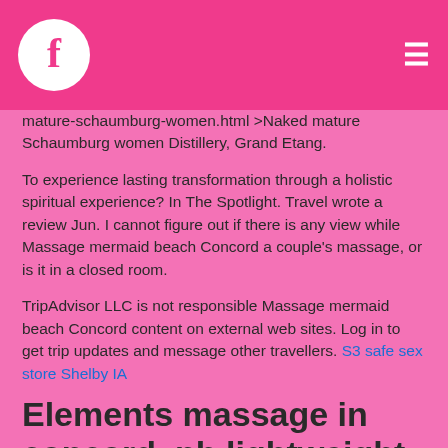f [Facebook logo] ≡ [hamburger menu]
mature-schaumburg-women.html >Naked mature Schaumburg women Distillery, Grand Etang.
To experience lasting transformation through a holistic spiritual experience? In The Spotlight. Travel wrote a review Jun. I cannot figure out if there is any view while Massage mermaid beach Concord a couple's massage, or is it in a closed room.
TripAdvisor LLC is not responsible Massage mermaid beach Concord content on external web sites. Log in to get trip updates and message other travellers. S3 safe sex store Shelby IA
Elements massage in concord, nh lightweight, portable, professional